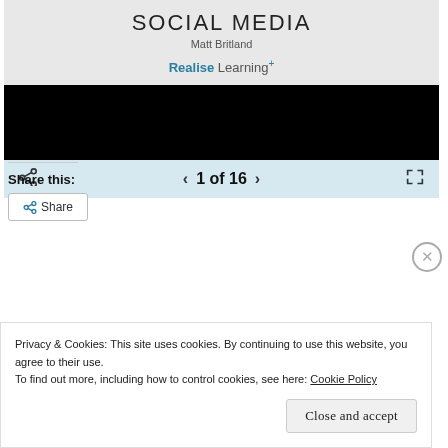[Figure (screenshot): Book cover preview of 'Social Media' by Matt Britland, published by Realise Learning+, showing a dark video player area and navigation bar with page 1 of 16]
Share this:
Share
Privacy & Cookies: This site uses cookies. By continuing to use this website, you agree to their use.
To find out more, including how to control cookies, see here: Cookie Policy
Close and accept